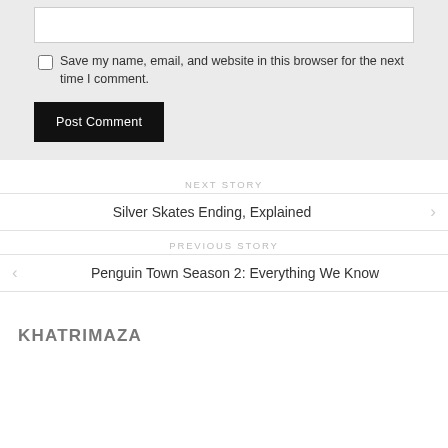[text input box]
Save my name, email, and website in this browser for the next time I comment.
Post Comment
NEXT STORY
Silver Skates Ending, Explained
PREVIOUS STORY
Penguin Town Season 2: Everything We Know
KHATRIMAZA